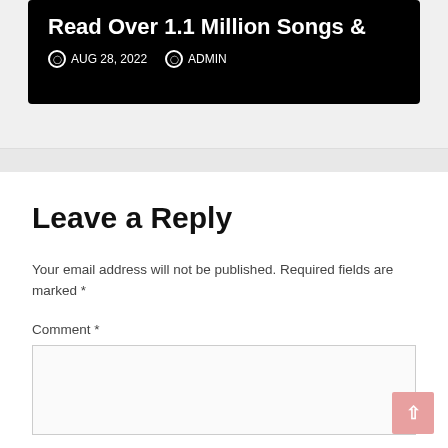Read Over 1.1 Million Songs &
AUG 28, 2022   ADMIN
Leave a Reply
Your email address will not be published. Required fields are marked *
Comment *